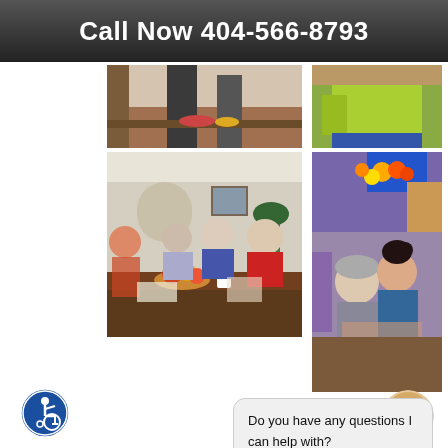Call Now 404-566-8793
[Figure (photo): Top-left photo showing elderly people at a table in a room, cropped view]
[Figure (photo): Top-right photo showing a person in a yellow/lime green top]
[Figure (photo): Bottom-left photo showing elderly people seated around a table with fruit bowl and crafts]
[Figure (photo): Bottom-right photo showing an elderly woman and a young Asian girl looking at something on a table, with decorative items in background]
Do you have any questions I can help with?
[Figure (illustration): Blue and white wheelchair accessibility icon in a circular badge]
[Figure (photo): Circular avatar of a blonde woman smiling]